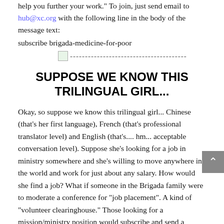help you further your work." To join, just send email to hub@xc.org with the following line in the body of the message text:
subscribe brigada-medicine-for-poor
[Figure (other): Small image icon followed by a horizontal dashed divider line]
SUPPOSE WE KNOW THIS TRILINGUAL GIRL...
Okay, so suppose we know this trilingual girl... Chinese (that’s her first language), French (that’s professional translator level) and English (that’s.... hm... acceptable conversation level). Suppose she’s looking for a job in ministry somewhere and she’s willing to move anywhere in the world and work for just about any salary. How would she find a job? What if someone in the Brigada family were to moderate a conference for “job placement”. A kind of “volunteer clearinghouse.” Those looking for a mission/ministry position would subscribe and send a message to the conference